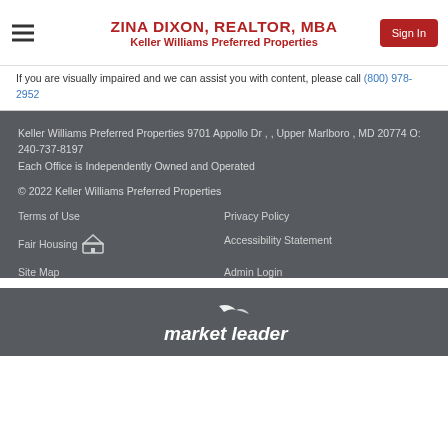ZINA DIXON, REALTOR, MBA
Keller Williams Preferred Properties
If you are visually impaired and we can assist you with content, please call (800) 978-2952
Keller Williams Preferred Properties 9701 Appollo Dr , , Upper Marlboro , MD 20774 O: 240-737-8197
Each Office is Independently Owned and Operated
© 2022 Keller Williams Preferred Properties
Terms of Use
Privacy Policy
Fair Housing
Accessibility Statement
Site Map
Admin Login
[Figure (logo): Market Leader logo in white on dark background]